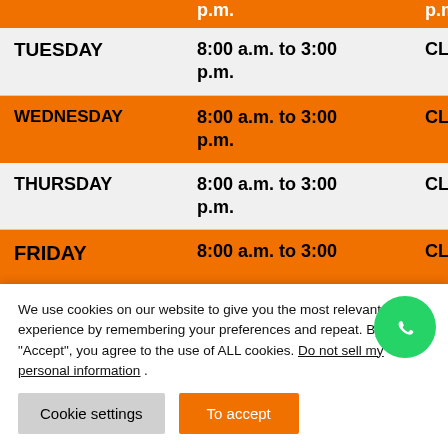| Day | Hours | Status |
| --- | --- | --- |
| TUESDAY | 8:00 a.m. to 3:00 p.m. | CLOSED |
| WEDNESDAY | 8:00 a.m. to 3:00 p.m. | CLOSED |
| THURSDAY | 8:00 a.m. to 3:00 p.m. | CLOSED |
| FRIDAY | 8:00 a.m. to 3:00 p.m. | CLOSED |
We use cookies on our website to give you the most relevant experience by remembering your preferences and repeat. By clicking "Accept", you agree to the use of ALL cookies.
Do not sell my personal information .
Cookie settings
To accept